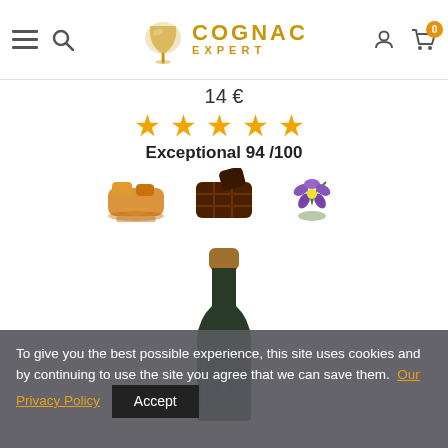Cognac Expert
14 €
[Figure (other): Five orange/gold star rating icons]
Exceptional 94 /100
[Figure (photo): Three flavor icons: caramel, chocolate, and violet flower]
[Figure (photo): Cognac bottle, dark glass with bronze capsule, label partially visible]
To give you the best possible experience, this site uses cookies and by continuing to use the site you agree that we can save them. Our Privacy Policy  Accept